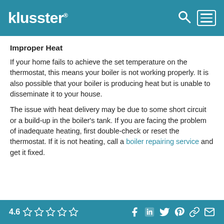klusster®
Improper Heat
If your home fails to achieve the set temperature on the thermostat, this means your boiler is not working properly. It is also possible that your boiler is producing heat but is unable to disseminate it to your house.
The issue with heat delivery may be due to some short circuit or a build-up in the boiler's tank. If you are facing the problem of inadequate heating, first double-check or reset the thermostat. If it is not heating, call a boiler repairing service and get it fixed.
4.6 ☆☆☆☆☆